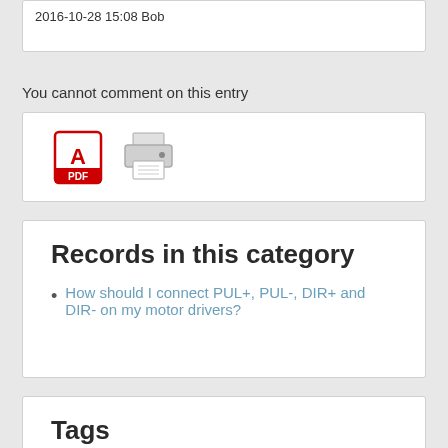2016-10-28 15:08 Bob
You cannot comment on this entry
[Figure (other): PDF icon and printer icon]
Records in this category
How should I connect PUL+, PUL-, DIR+ and DIR- on my motor drivers?
Tags
communications
debug
direction